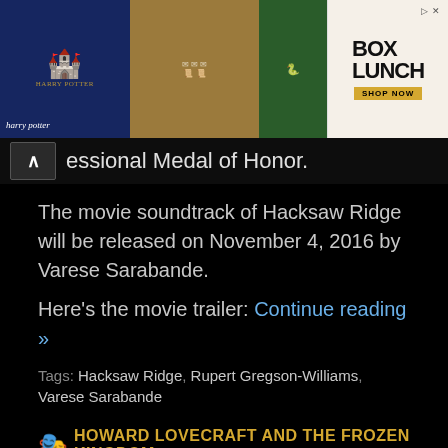[Figure (screenshot): Advertisement banner for BoxLunch Harry Potter merchandise, showing Hogwarts imagery, patterned items on wood background, and green Slytherin merchandise. BoxLunch logo with 'SHOP NOW' button on right.]
essional Medal of Honor.
The movie soundtrack of Hacksaw Ridge will be released on November 4, 2016 by Varese Sarabande.
Here's the movie trailer: Continue reading »
Tags: Hacksaw Ridge, Rupert Gregson-Williams, Varese Sarabande
HOWARD LOVECRAFT AND THE FROZEN KINGDOM
Here's the official track list of the soundtrack of Howard Lovecraft and the Frozen Kingdom, the upcoming animated movie written and directed by Sean Patrick